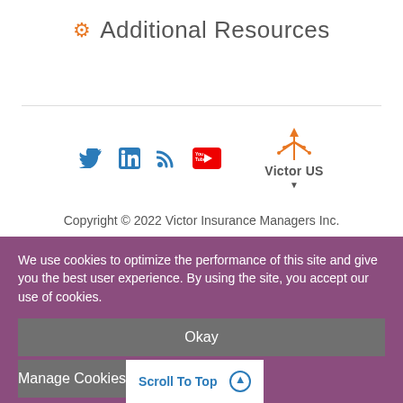Additional Resources
[Figure (logo): Victor US logo with orange arrow/antenna graphic and social media icons: Twitter, LinkedIn, RSS, YouTube]
Copyright © 2022 Victor Insurance Managers Inc.
301-961-9800
info.us@victorinsurance.com
We use cookies to optimize the performance of this site and give you the best user experience. By using the site, you accept our use of cookies.
Okay
Manage Cookies
Scroll To Top